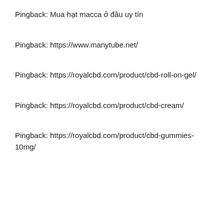Pingback: Mua hạt macca ở đâu uy tín
Pingback: https://www.manytube.net/
Pingback: https://royalcbd.com/product/cbd-roll-on-gel/
Pingback: https://royalcbd.com/product/cbd-cream/
Pingback: https://royalcbd.com/product/cbd-gummies-10mg/